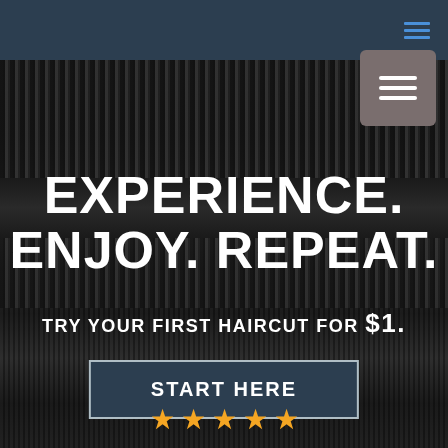Navigation bar with hamburger menu icon
[Figure (screenshot): Dark background with hair clipper comb/blade texture in black and white. Menu button overlay (brownish-grey square with three white lines) in top right area.]
EXPERIENCE. ENJOY. REPEAT.
TRY YOUR FIRST HAIRCUT FOR $1.
START HERE
[Figure (infographic): Five gold/orange star rating icons at the bottom of the page]